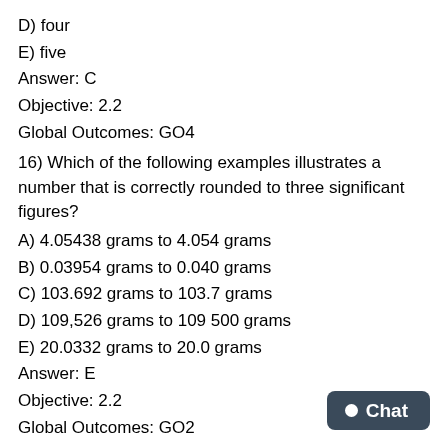D) four
E) five
Answer: C
Objective: 2.2
Global Outcomes: GO4
16) Which of the following examples illustrates a number that is correctly rounded to three significant figures?
A) 4.05438 grams to 4.054 grams
B) 0.03954 grams to 0.040 grams
C) 103.692 grams to 103.7 grams
D) 109,526 grams to 109 500 grams
E) 20.0332 grams to 20.0 grams
Answer: E
Objective: 2.2
Global Outcomes: GO2
17) An absolute accuracy of 183.6850 parts thousand ...